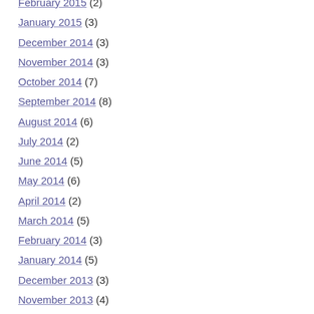February 2015 (2)
January 2015 (3)
December 2014 (3)
November 2014 (3)
October 2014 (7)
September 2014 (8)
August 2014 (6)
July 2014 (2)
June 2014 (5)
May 2014 (6)
April 2014 (2)
March 2014 (5)
February 2014 (3)
January 2014 (5)
December 2013 (3)
November 2013 (4)
October 2013 (6)
September 2013 (3)
August 2013 (5)